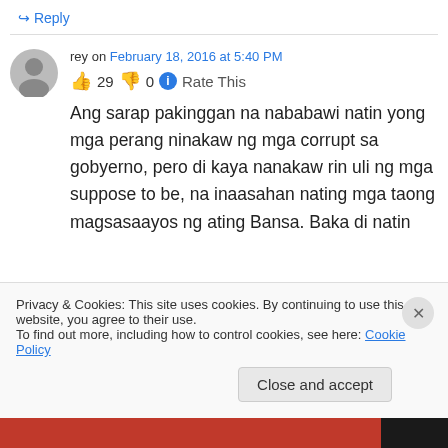↪ Reply
rey on February 18, 2016 at 5:40 PM
👍 29 👎 0 ℹ Rate This
Ang sarap pakinggan na nababawi natin yong mga perang ninakaw ng mga corrupt sa gobyerno, pero di kaya nanakaw rin uli ng mga suppose to be, na inaasahan nating mga taong magsasaayos ng ating Bansa. Baka di natin
Privacy & Cookies: This site uses cookies. By continuing to use this website, you agree to their use. To find out more, including how to control cookies, see here: Cookie Policy
Close and accept